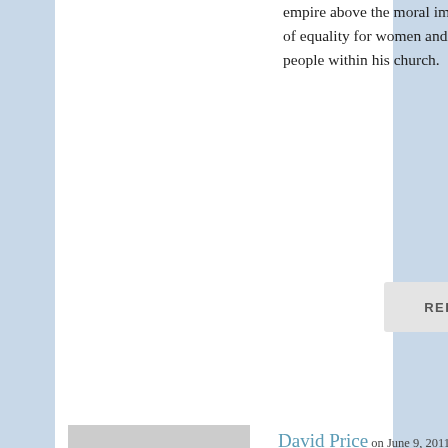empire above the moral imperative of equality for women and gay people within his church.
REPLY
David Price on June 9, 2011 at 2:31 pm
The trouble is Alastair, if you bother to read the 2010 manifestos of both the Tories and the Lib Dems, you'll find proposals for extensive welfare, education and health reform – go and look